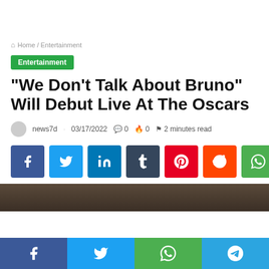Home / Entertainment
Entertainment
“We Don’t Talk About Bruno” Will Debut Live At The Oscars
news7d · 03/17/2022 ⦁ 0 🔥 0 ⚑ 2 minutes read
[Figure (other): Social share buttons for Facebook, Twitter, LinkedIn, Tumblr, Pinterest, Reddit, WhatsApp]
[Figure (photo): Dark background image strip at bottom of article]
Facebook Twitter WhatsApp Telegram share buttons bar